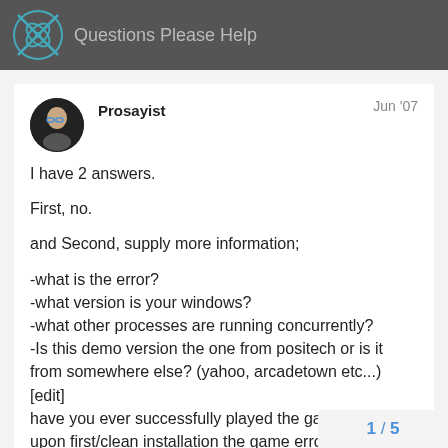Questions Please Help
Prosayist  Jun '07
I have 2 answers.

First, no.

and Second, supply more information;

-what is the error?
-what version is your windows?
-what other processes are running concurrently?
-Is this demo version the one from positech or is it from somewhere else? (yahoo, arcadetown etc...)
[edit]
have you ever successfully played the game or is it upon first/clean installation the game errors/crashes?
[/edit]
Answer these and maybe someone can...